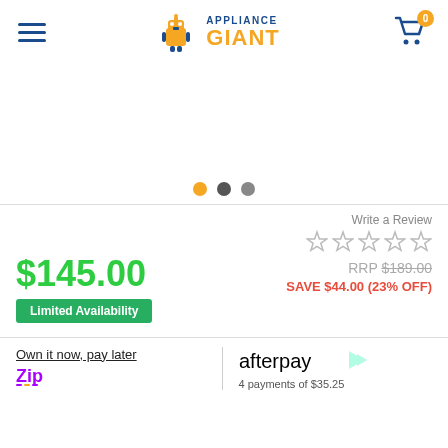Appliance Giant - Menu, Logo, Cart (0)
[Figure (photo): Product image area (blank/white - product not visible)]
[Figure (other): Image carousel dots: orange (active), dark grey, grey]
Write a Review
[Figure (other): 5 empty star rating icons]
$145.00
Limited Availability
RRP $189.00
SAVE $44.00 (23% OFF)
Own it now, pay later
[Figure (logo): Zip logo]
[Figure (logo): Afterpay logo with afterpay arrow icon]
4 payments of $35.25